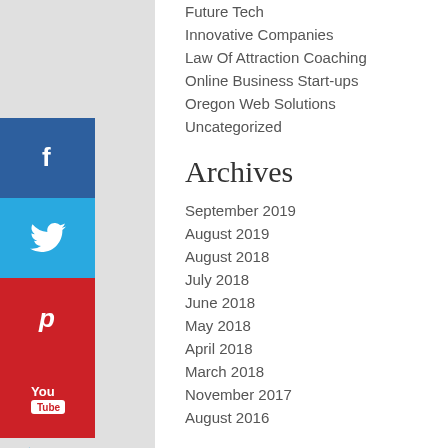Future Tech
Innovative Companies
Law Of Attraction Coaching
Online Business Start-ups
Oregon Web Solutions
Uncategorized
Archives
September 2019
August 2019
August 2018
July 2018
June 2018
May 2018
April 2018
March 2018
November 2017
August 2016